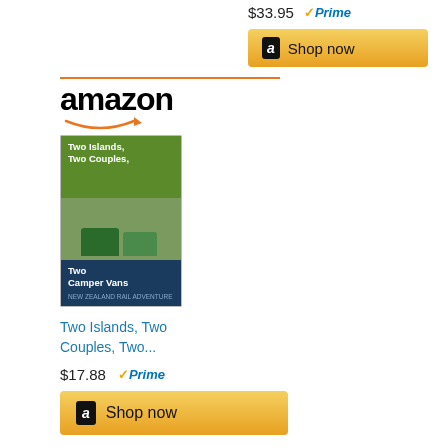Travellers... $33.95 Prime
[Figure (other): Shop now button with Amazon logo and gold background]
[Figure (logo): Amazon logo with orange arrow]
[Figure (photo): Book cover: Two Islands, Two Couples, Two Camper Vans]
Two Islands, Two Couples, Two...
$17.88 Prime
[Figure (other): Shop now button with Amazon logo and gold background]
Tip: If you find yourself on New Zealand's North Island, a very popular day hike is the Tongariro Alpine Crossing, a UNESCO World Heritage site. My friend Melanie hiked it during her visit to New Zealand.
Related Posts